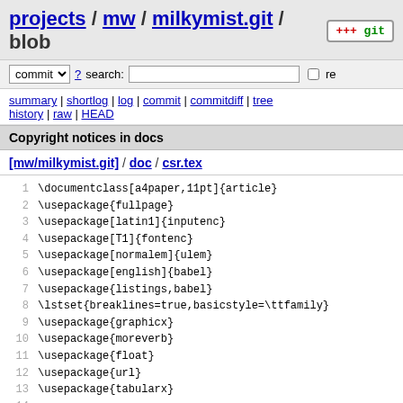projects / mw / milkymist.git / blob
commit ? search: re
summary | shortlog | log | commit | commitdiff | tree history | raw | HEAD
Copyright notices in docs
[mw/milkymist.git] / doc / csr.tex
1  \documentclass[a4paper,11pt]{article}
2  \usepackage{fullpage}
3  \usepackage[latin1]{inputenc}
4  \usepackage[T1]{fontenc}
5  \usepackage[normalem]{ulem}
6  \usepackage[english]{babel}
7  \usepackage{listings,babel}
8  \lstset{breaklines=true,basicstyle=\ttfamily}
9  \usepackage{graphicx}
10 \usepackage{moreverb}
11 \usepackage{float}
12 \usepackage{url}
13 \usepackage{tabularx}
14 
15 \title{Configuration and Status Register (CSR) bus spe
16 \author{S\'ebastien Bourdeauducq}
17 \date{December 2009}
18 \begin{document}
19 \setlength{\parindent}{0pt}